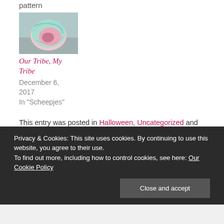pattern
[Figure (photo): A ball of pastel-colored yarn in mint green, pink, and white]
Our Tribe, My Tribe
December 6, 2017
In "Scheepjes"
This entry was posted in Halloween, Uncategorized and tagged amigurumi, crochet, Halloween, la muerte, scheepjes, spooky, wreath. Bookmark the permalink.
Privacy & Cookies: This site uses cookies. By continuing to use this website, you agree to their use.
To find out more, including how to control cookies, see here: Our Cookie Policy